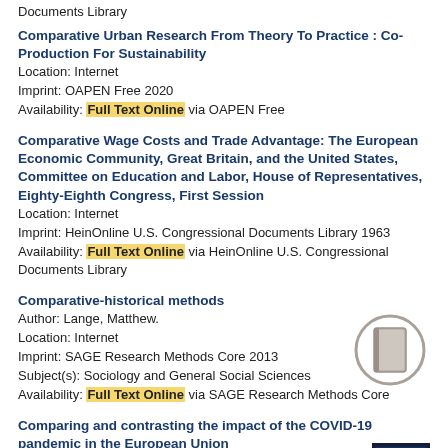Documents Library
Comparative Urban Research From Theory To Practice : Co-Production For Sustainability
Location: Internet
Imprint: OAPEN Free 2020
Availability: Full Text Online via OAPEN Free
Comparative Wage Costs and Trade Advantage: The European Economic Community, Great Britain, and the United States, Committee on Education and Labor, House of Representatives, Eighty-Eighth Congress, First Session
Location: Internet
Imprint: HeinOnline U.S. Congressional Documents Library 1963
Availability: Full Text Online via HeinOnline U.S. Congressional Documents Library
Comparative-historical methods
Author: Lange, Matthew.
Location: Internet
Imprint: SAGE Research Methods Core 2013
Subject(s): Sociology and General Social Sciences
Availability: Full Text Online via SAGE Research Methods Core
Comparing and contrasting the impact of the COVID-19 pandemic in the European Union
Author: Hantrais, Linda,
Location: Internet